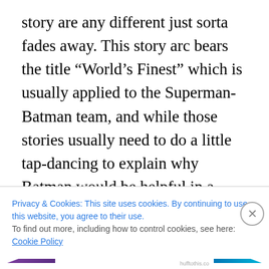story are any different just sorta fades away. This story arc bears the title “World’s Finest” which is usually applied to the Superman-Batman team, and while those stories usually need to do a little tap-dancing to explain why Batman would be helpful in a situation when Superman is already on the job, this team seems like a natural pairing.
The way this confidence is expressed in the artwork is astounding. I have a hard time writing about Batwoman without gushing about art, but Williams has outdone himself in this issue. Every spread is an ambitious splash
Privacy & Cookies: This site uses cookies. By continuing to use this website, you agree to their use.
To find out more, including how to control cookies, see here: Cookie Policy
Close and accept